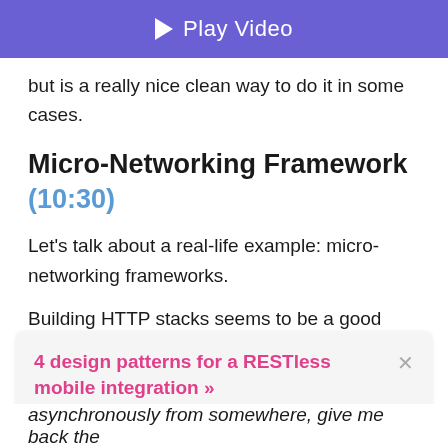[Figure (other): Purple play video button bar at the top of the page]
but is a really nice clean way to do it in some cases.
Micro-Networking Framework (10:30)
Let's talk about a real-life example: micro-networking frameworks.
Building HTTP stacks seems to be a good thing to try on this, because many times what I want to do, when I am requesting data from the Interwebs, is I just want to focus on the actual data type that I am requesting. I
4 design patterns for a RESTless mobile integration »
asynchronously from somewhere, give me back the